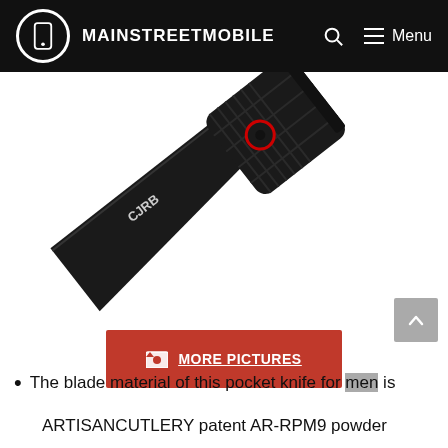MAINSTREETMOBILE
[Figure (photo): A folding pocket knife with a black tanto/cleaver-style blade, carbon fiber handle with red pivot ring, displayed diagonally on white background. Brand appears to be CJRB.]
MORE PICTURES
The blade material of this pocket knife for men is
ARTISANCUTLERY patent AR-RPM9 powder